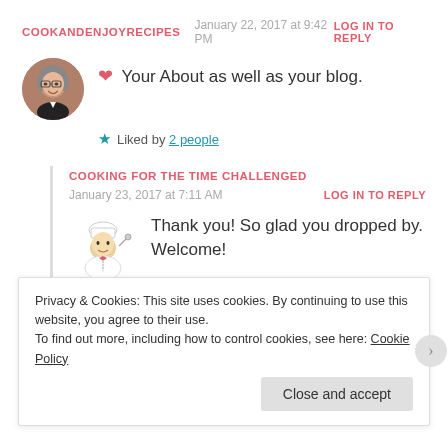COOKANDENJOYRECIPES   January 22, 2017 at 9:42 PM
LOG IN TO REPLY
❤ Your About as well as your blog.
★ Liked by 2 people
COOKING FOR THE TIME CHALLENGED
January 23, 2017 at 7:11 AM   LOG IN TO REPLY
Thank you! So glad you dropped by. Welcome!
Privacy & Cookies: This site uses cookies. By continuing to use this website, you agree to their use.
To find out more, including how to control cookies, see here: Cookie Policy
Close and accept